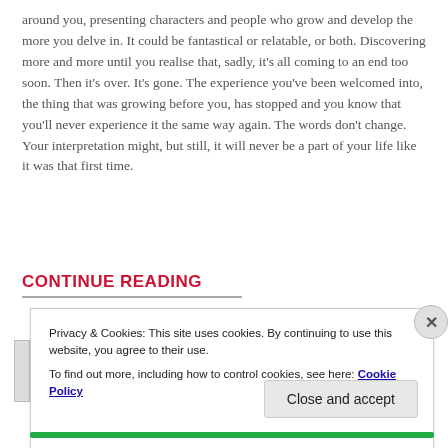around you, presenting characters and people who grow and develop the more you delve in. It could be fantastical or relatable, or both. Discovering more and more until you realise that, sadly, it's all coming to an end too soon. Then it's over. It's gone. The experience you've been welcomed into, the thing that was growing before you, has stopped and you know that you'll never experience it the same way again. The words don't change. Your interpretation might, but still, it will never be a part of your life like it was that first time.
CONTINUE READING
Privacy & Cookies: This site uses cookies. By continuing to use this website, you agree to their use.
To find out more, including how to control cookies, see here: Cookie Policy
Close and accept